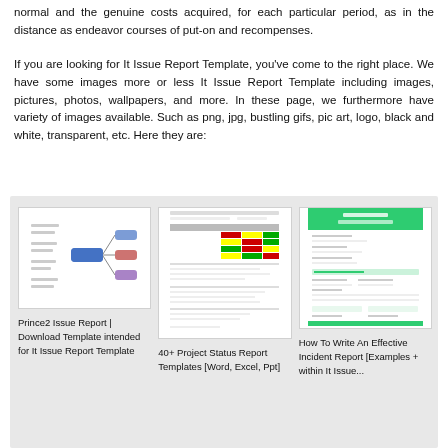normal and the genuine costs acquired, for each particular period, as in the distance as endeavor courses of put-on and recompenses.
If you are looking for It Issue Report Template, you've come to the right place. We have some images more or less It Issue Report Template including images, pictures, photos, wallpapers, and more. In these page, we furthermore have variety of images available. Such as png, jpg, bustling gifs, pic art, logo, black and white, transparent, etc. Here they are:
[Figure (illustration): Gallery section with light gray background containing three thumbnail cards: 1) A mind-map/flow diagram (Prince2 Issue Report), 2) A project status report with colored table (40+ Project Status Report Templates [Word, Excel, Ppt]), 3) A form-style incident report (How To Write An Effective Incident Report [Examples + within It Issue...])]
Prince2 Issue Report | Download Template intended for It Issue Report Template
40+ Project Status Report Templates [Word, Excel, Ppt]
How To Write An Effective Incident Report [Examples + within It Issue...